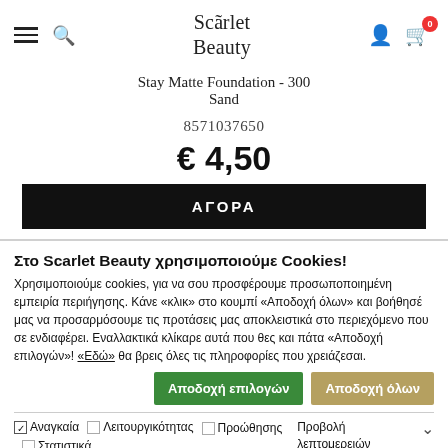Scarlet Beauty
Stay Matte Foundation - 300 Sand
8571037650
€ 4,50
ΑΓΟΡΑ
Στο Scarlet Beauty χρησιμοποιούμε Cookies!
Χρησιμοποιούμε cookies, για να σου προσφέρουμε προσωποποιημένη εμπειρία περιήγησης. Κάνε «κλικ» στο κουμπί «Αποδοχή όλων» και βοήθησέ μας να προσαρμόσουμε τις προτάσεις μας αποκλειστικά στο περιεχόμενο που σε ενδιαφέρει. Εναλλακτικά κλίκαρε αυτά που θες και πάτα «Αποδοχή επιλογών»! «Εδώ» θα βρεις όλες τις πληροφορίες που χρειάζεσαι.
Αποδοχή επιλογών | Αποδοχή όλων
Αναγκαία  Λειτουργικότητας  Στατιστικά  Προβολή λεπτομερειών  Προώθησης